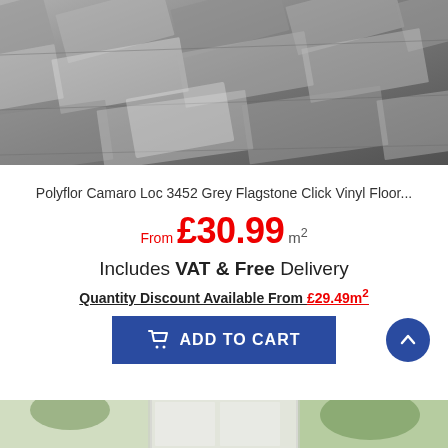[Figure (photo): Photo of grey flagstone vinyl flooring laid in a herringbone/diagonal pattern, shown from above at an angle. The tiles are various shades of grey with a stone texture.]
Polyflor Camaro Loc 3452 Grey Flagstone Click Vinyl Floor...
From £30.99 m²
Includes VAT & Free Delivery
Quantity Discount Available From £29.49m²
[Figure (screenshot): Blue 'Add to Cart' button with shopping cart icon and text 'ADD TO CART']
[Figure (photo): Bottom portion of a second product image showing a bright room interior, partially visible at the bottom of the page.]